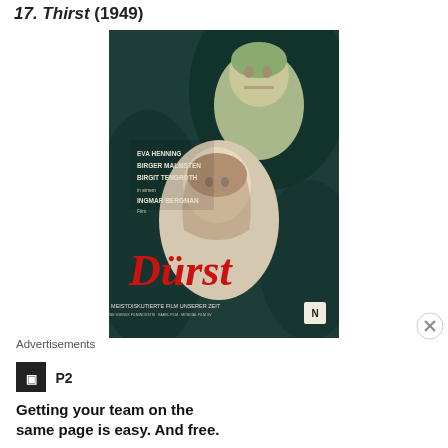17. Thirst (1949)
[Figure (photo): Movie poster for 'Thirst' (1949) directed by Ingmar Bergman. German release poster titled 'Durst' featuring dramatic painted artwork of a man and woman embracing, with red stylized title lettering. Credits list Eva Henning, Birger Malmsten, Birgit Tengroth, and Ingmar Bergman.]
Advertisements
[Figure (logo): P2 logo — black square with white 'P2' text]
Getting your team on the same page is easy. And free.